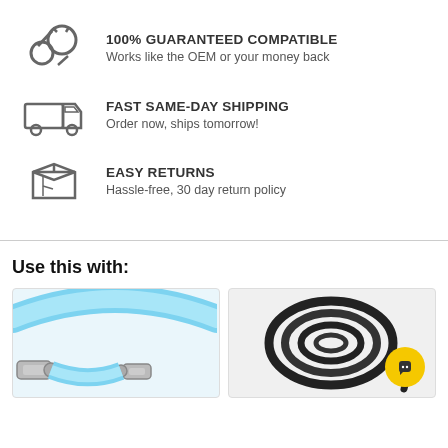100% GUARANTEED COMPATIBLE
Works like the OEM or your money back
FAST SAME-DAY SHIPPING
Order now, ships tomorrow!
EASY RETURNS
Hassle-free, 30 day return policy
Use this with:
[Figure (photo): Blue air hose with metal fittings on both ends]
[Figure (photo): Black coiled air hose/cord]